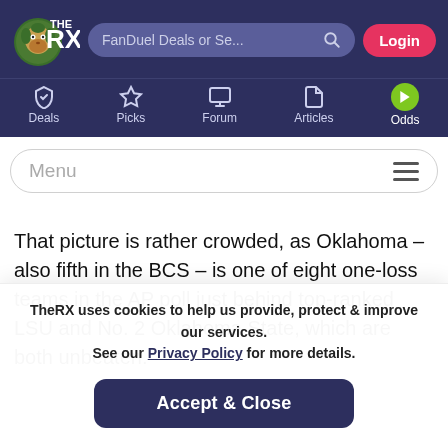[Figure (logo): TheRX logo with lion mascot icon, white text on dark navy background]
FanDuel Deals or Se...  Login
Deals  Picks  Forum  Articles  Odds
Menu
That picture is rather crowded, as Oklahoma – also fifth in the BCS – is one of eight one-loss teams in the AP poll just behind top-ranked LSU and No. 2 Oklahoma State, which are both unbeaten.
TheRX uses cookies to help us provide, protect & improve our services. See our Privacy Policy for more details.
Accept & Close